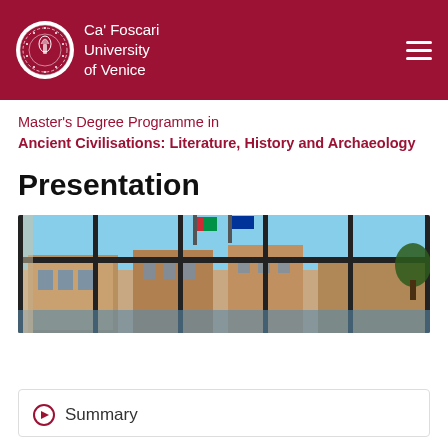Ca' Foscari University of Venice
Master's Degree Programme in Ancient Civilisations: Literature, History and Archaeology
Presentation
[Figure (photo): View through large window frames showing Venice buildings and colourful flags outside, taken from inside a university library or hall.]
Summary